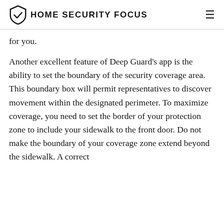HOME SECURITY FOCUS
for you.
Another excellent feature of Deep Guard's app is the ability to set the boundary of the security coverage area. This boundary box will permit representatives to discover movement within the designated perimeter. To maximize coverage, you need to set the border of your protection zone to include your sidewalk to the front door. Do not make the boundary of your coverage zone extend beyond the sidewalk. A correct